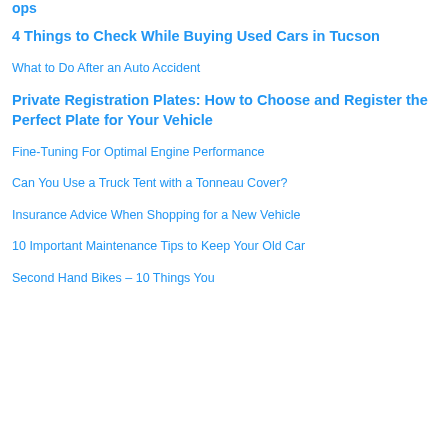ops
4 Things to Check While Buying Used Cars in Tucson
What to Do After an Auto Accident
Private Registration Plates: How to Choose and Register the Perfect Plate for Your Vehicle
Fine-Tuning For Optimal Engine Performance
Can You Use a Truck Tent with a Tonneau Cover?
Insurance Advice When Shopping for a New Vehicle
10 Important Maintenance Tips to Keep Your Old Car
Second Hand Bikes – 10 Things You